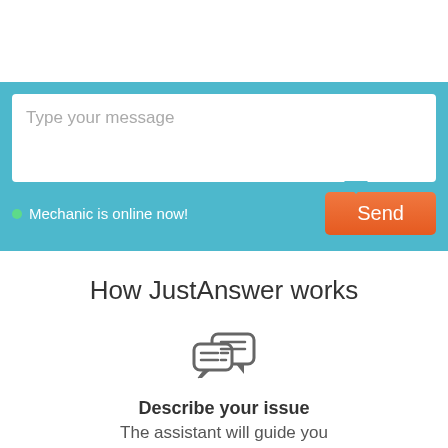[Figure (screenshot): Chat message input box with placeholder text 'Type your message' on a teal/blue background panel]
● Mechanic is online now!
Send
How JustAnswer works
[Figure (illustration): Two overlapping speech bubble chat icons in gray outline style]
Describe your issue
The assistant will guide you
[Figure (illustration): Person with headset icon in gray outline style (partially visible)]